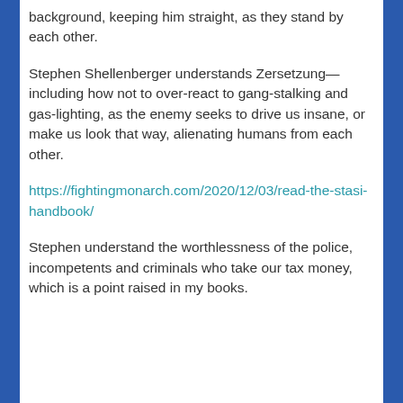background, keeping him straight, as they stand by each other.
Stephen Shellenberger understands Zersetzung—including how not to over-react to gang-stalking and gas-lighting, as the enemy seeks to drive us insane, or make us look that way, alienating humans from each other.
https://fightingmonarch.com/2020/12/03/read-the-stasi-handbook/
Stephen understand the worthlessness of the police, incompetents and criminals who take our tax money, which is a point raised in my books.